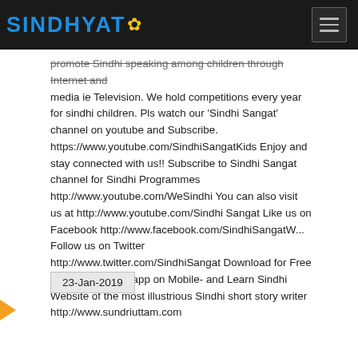SINDHYAT
promote Sindhi speaking among children through Internet and media ie Television. We hold competitions every year for sindhi children. Pls watch our 'Sindhi Sangat' channel on youtube and Subscribe. https://www.youtube.com/SindhiSangatKids Enjoy and stay connected with us!! Subscribe to Sindhi Sangat channel for Sindhi Programmes http://www.youtube.com/WeSindhi You can also visit us at http://www.youtube.com/Sindhi Sangat Like us on Facebook http://www.facebook.com/SindhiSangatW... Follow us on Twitter http://www.twitter.com/SindhiSangat Download for Free 'LEARN SINDHI' app on Mobile- and Learn Sindhi Website of the most illustrious Sindhi short story writer http://www.sundriuttam.com
23-Jan-2019